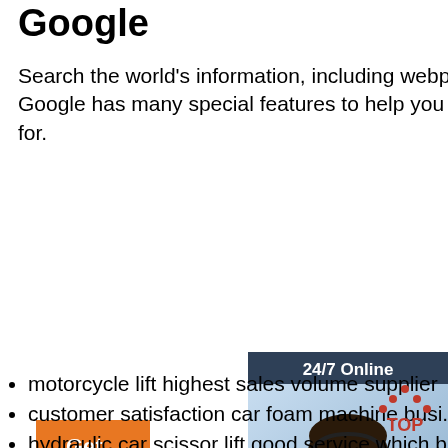Google
Search the world's information, including webpages, images, videos and more. Google has many special features to help you find exactly what you're looking for.
Get Price
[Figure (photo): Chat widget with a woman wearing a headset, labeled '24/7 Online', 'Click here for free chat!', and an orange 'QUOTATION' button]
motorcycle lift highest sales volume supplier
customer satisfaction car foam machine busi...
hydraulic car scissor lift good service which b...
good customer reputation pick-up truck frame... direct manufacturers
the best reputation piston air compressor direct manufacturers
good evaluation car repair toolsair compressor customers factory
where best europe type frame machine ex-factory price